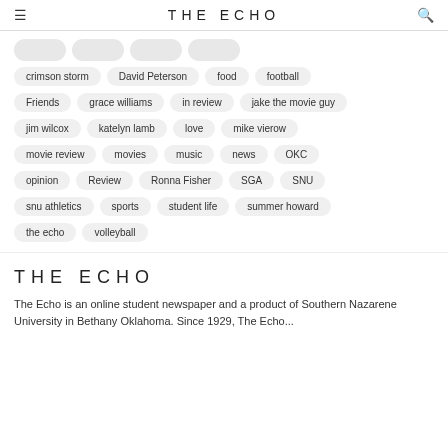THE ECHO
crimson storm
David Peterson
food
football
Friends
grace williams
in review
jake the movie guy
jim wilcox
katelyn lamb
love
mike vierow
movie review
movies
music
news
OKC
opinion
Review
Ronna Fisher
SGA
SNU
snu athletics
sports
student life
summer howard
the echo
volleyball
THE ECHO
The Echo is an online student newspaper and a product of Southern Nazarene University in Bethany Oklahoma. Since 1929, The Echo...